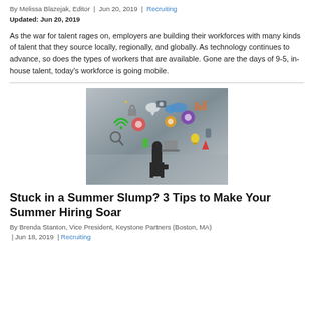By Melissa Blazejak, Editor | Jun 20, 2019 | Recruiting
Updated: Jun 20, 2019
As the war for talent rages on, employers are building their workforces with many kinds of talent that they source locally, regionally, and globally. As technology continues to advance, so does the types of workers that are available. Gone are the days of 9-5, in-house talent, today's workforce is going mobile.
[Figure (photo): A silhouetted person standing in front of a wall covered in colorful technology and business icons including gears, clouds, lightbulbs, and various app symbols.]
Stuck in a Summer Slump? 3 Tips to Make Your Summer Hiring Soar
By Brenda Stanton, Vice President, Keystone Partners (Boston, MA) | Jun 18, 2019 | Recruiting